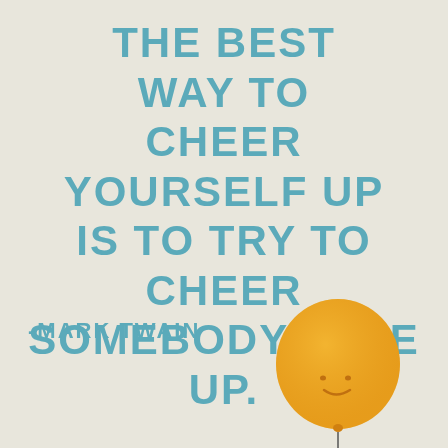tHe Best WAY to cHeer YoURSeLf Up is to TRY to cHeer SomeBoDY else Up.
-MARK TWAIN
[Figure (illustration): A cheerful yellow balloon with a simple smiley face (two small dot eyes and a small curved smile), with a thin string hanging below it.]